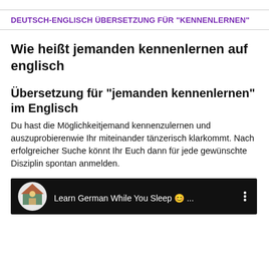DEUTSCH-ENGLISCH ÜBERSETZUNG FÜR "KENNENLERNEN"
Wie heißt jemanden kennenlernen auf englisch
Übersetzung für "jemanden kennenlernen" im Englisch
Du hast die Möglichkeitjemand kennenzulernen und auszuprobierenwie Ihr miteinander tänzerisch klarkommt. Nach erfolgreicher Suche könnt Ihr Euch dann für jede gewünschte Disziplin spontan anmelden.
[Figure (screenshot): Video thumbnail with black background showing a circular logo (house with people icon) and text 'Learn German While You Sleep 😊 ...' with a three-dot menu icon on the right]